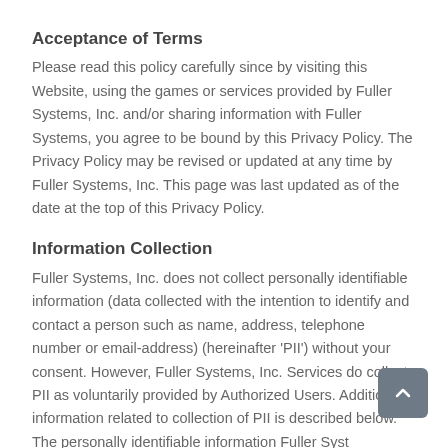Acceptance of Terms
Please read this policy carefully since by visiting this Website, using the games or services provided by Fuller Systems, Inc. and/or sharing information with Fuller Systems, you agree to be bound by this Privacy Policy. The Privacy Policy may be revised or updated at any time by Fuller Systems, Inc. This page was last updated as of the date at the top of this Privacy Policy.
Information Collection
Fuller Systems, Inc. does not collect personally identifiable information (data collected with the intention to identify and contact a person such as name, address, telephone number or email-address) (hereinafter 'PII') without your consent. However, Fuller Systems, Inc. Services do collect PII as voluntarily provided by Authorized Users. Additional information related to collection of PII is described below. The personally identifiable information Fuller Syst...